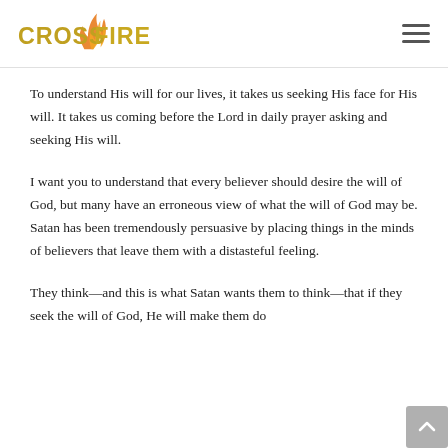CROSSFIRE (logo)
To understand His will for our lives, it takes us seeking His face for His will. It takes us coming before the Lord in daily prayer asking and seeking His will.
I want you to understand that every believer should desire the will of God, but many have an erroneous view of what the will of God may be. Satan has been tremendously persuasive by placing things in the minds of believers that leave them with a distasteful feeling.
They think—and this is what Satan wants them to think—that if they seek the will of God, He will make them do something that they do not want to do, that they might be...